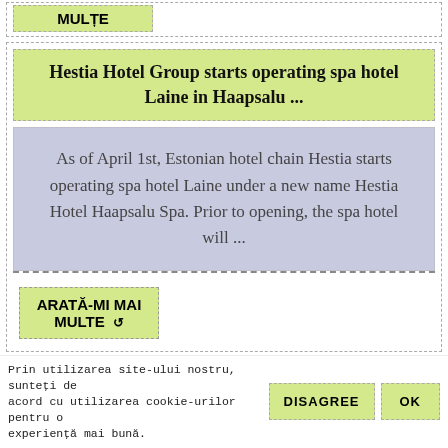MULȚE
Hestia Hotel Group starts operating spa hotel Laine in Haapsalu ...
As of April 1st, Estonian hotel chain Hestia starts operating spa hotel Laine under a new name Hestia Hotel Haapsalu Spa. Prior to opening, the spa hotel will ...
ARATĂ-MI MAI MULTE
Romanian Hotel Industry Profile through the Traded Hotel Companies
Prin utilizarea site-ului nostru, sunteți de acord cu utilizarea cookie-urilor pentru o experiență mai bună.
DISAGREE
OK